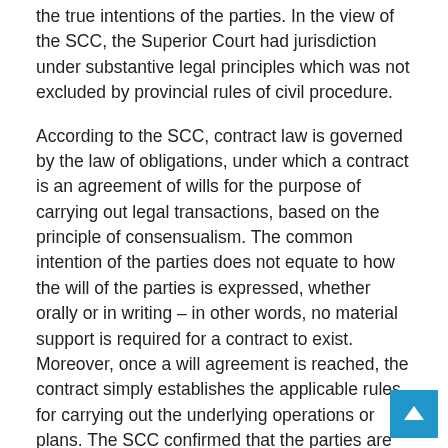the true intentions of the parties. In the view of the SCC, the Superior Court had jurisdiction under substantive legal principles which was not excluded by provincial rules of civil procedure.
According to the SCC, contract law is governed by the law of obligations, under which a contract is an agreement of wills for the purpose of carrying out legal transactions, based on the principle of consensualism. The common intention of the parties does not equate to how the will of the parties is expressed, whether orally or in writing – in other words, no material support is required for a contract to exist. Moreover, once a will agreement is reached, the contract simply establishes the applicable rules for carrying out the underlying operations or plans. The SCC confirmed that the parties are free between themselves to modify or cancel the contracts and the underlying documents and can freely recognize and correct common errors, subject to the rights of any third party.
The CSC indicated that the requirement of legal formalities